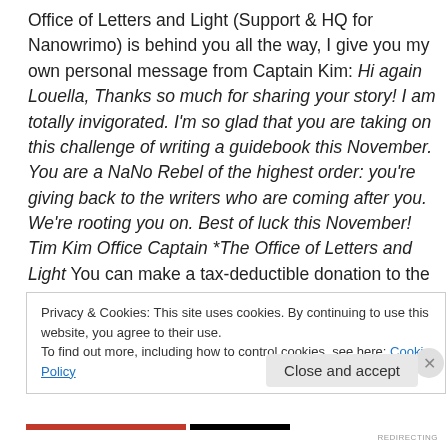Office of Letters and Light (Support & HQ for Nanowrimo) is behind you all the way, I give you my own personal message from Captain Kim: Hi again Louella, Thanks so much for sharing your story! I am totally invigorated. I'm so glad that you are taking on this challenge of writing a guidebook this November. You are a NaNo Rebel of the highest order: you're giving back to the writers who are coming after you. We're rooting you on. Best of luck this November! Tim Kim Office Captain *The Office of Letters and Light You can make a tax-deductible donation to the Office of Letters and Light at http://store.lettersandlight.org
Privacy & Cookies: This site uses cookies. By continuing to use this website, you agree to their use. To find out more, including how to control cookies, see here: Cookie Policy
Close and accept